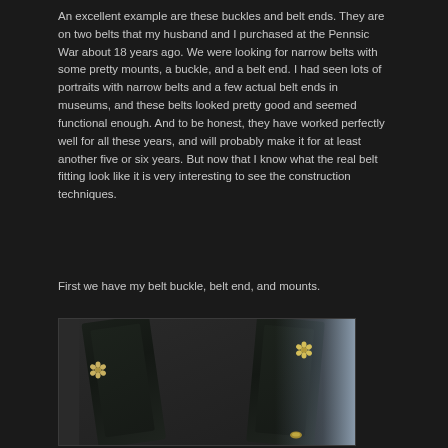An excellent example are these buckles and belt ends. They are on two belts that my husband and I purchased at the Pennsic War about 18 years ago. We were looking for narrow belts with some pretty mounts, a buckle, and a belt end. I had seen lots of portraits with narrow belts and a few actual belt ends in museums, and these belts looked pretty good and seemed functional enough. And to be honest, they have worked perfectly well for all these years, and will probably make it for at least another five or six years. But now that I know what the real belt fitting look like it is very interesting to see the construction techniques.
First we have my belt buckle, belt end, and mounts.
[Figure (photo): Close-up photo of two narrow dark leather belts side by side, each with small gold/brass flower-shaped metal mounts riveted onto them. The background transitions from dark on the left to lighter gray-blue on the right.]